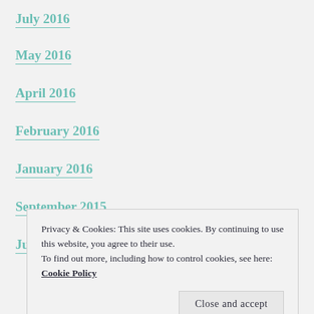July 2016
May 2016
April 2016
February 2016
January 2016
September 2015
June 2015
Privacy & Cookies: This site uses cookies. By continuing to use this website, you agree to their use.
To find out more, including how to control cookies, see here: Cookie Policy
December 2014